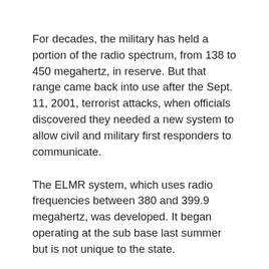For decades, the military has held a portion of the radio spectrum, from 138 to 450 megahertz, in reserve. But that range came back into use after the Sept. 11, 2001, terrorist attacks, when officials discovered they needed a new system to allow civil and military first responders to communicate.
The ELMR system, which uses radio frequencies between 380 and 399.9 megahertz, was developed. It began operating at the sub base last summer but is not unique to the state.
In 2006, residents around an Air Force facility in Colorado Springs, Colo., saw their garage-door remotes stop working when the 21st Space Wing began testing a frequency for use during homeland security emergencies or threats. In 2005, testing of a similar system in Fort Detrick in